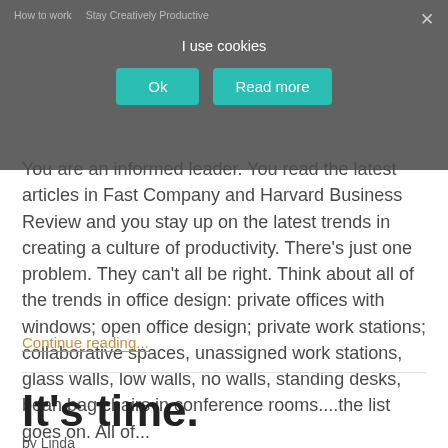[Figure (screenshot): Cookie consent overlay with teal Ok and Read more buttons, showing partial navigation text 'How to work' and 'Stay Creatively Productive' behind it, with a close X button.]
You are an informed leader. You read the latest articles in Fast Company and Harvard Business Review and you stay up on the latest trends in creating a culture of productivity. There's just one problem. They can't all be right. Think about all of the trends in office design: private offices with windows; open office design; private work stations; collaborative spaces, unassigned work stations, glass walls, low walls, no walls, standing desks, bean bag chairs in conference rooms....the list goes on. All of...
Continue reading...
It's time.
by Linda